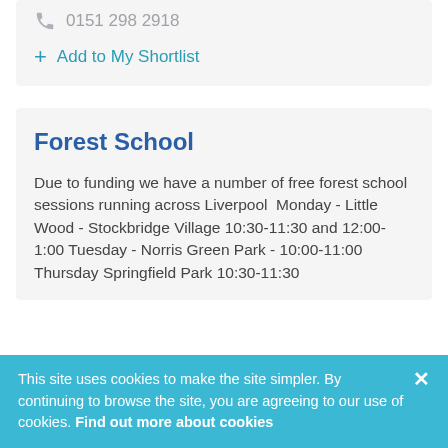0151 298 2918
+ Add to My Shortlist
Forest School
Due to funding we have a number of free forest school sessions running across Liverpool  Monday - Little Wood - Stockbridge Village 10:30-11:30 and 12:00-1:00 Tuesday - Norris Green Park - 10:00-11:00  Thursday Springfield Park 10:30-11:30 and 12:00-1:00  Enrolling for the sessions
This site uses cookies to make the site simpler. By continuing to browse the site, you are agreeing to our use of cookies. Find out more about cookies